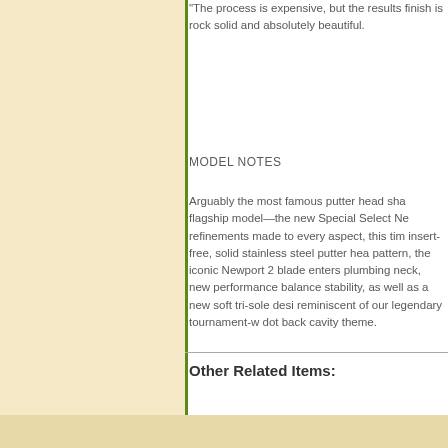The process is expensive, but the results finish is rock solid and absolutely beautiful.
MODEL NOTES
Arguably the most famous putter head sha flagship model—the new Special Select Ne refinements made to every aspect, this tim insert-free, solid stainless steel putter hea pattern, the iconic Newport 2 blade enters plumbing neck, new performance balanced stability, as well as a new soft tri-sole desi reminiscent of our legendary tournament-w dot back cavity theme.
Other Related Items: